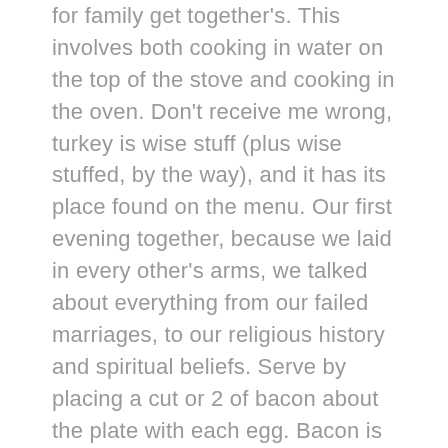for family get together's. This involves both cooking in water on the top of the stove and cooking in the oven. Don't receive me wrong, turkey is wise stuff (plus wise stuffed, by the way), and it has its place found on the menu. Our first evening together, because we laid in every other's arms, we talked about everything from our failed marriages, to our religious history and spiritual beliefs. Serve by placing a cut or 2 of bacon about the plate with each egg. Bacon is the breakfast favorite of all, kids plus adults. Water temperature, salinity, and local tides all affect the taste of an oyster. Heat up the oven to three hundred twenty five degreed Fahrenheit. The easiest way to consume them is steamed entire in the shell, then pulled from its shell at the table plus dipped, initially in the clam broth inside